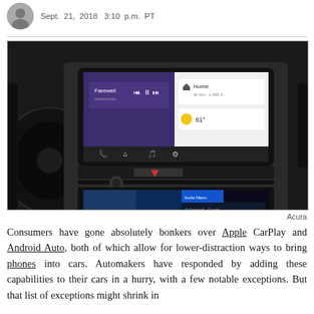Sept. 21, 2018  3:10 p.m.  PT
[Figure (photo): Car infotainment system showing Android Auto interface on a dual-screen dashboard in what appears to be an Acura vehicle]
Acura
Consumers have gone absolutely bonkers over Apple CarPlay and Android Auto, both of which allow for lower-distraction ways to bring phones into cars. Automakers have responded by adding these capabilities to their cars in a hurry, with a few notable exceptions. But that list of exceptions might shrink in